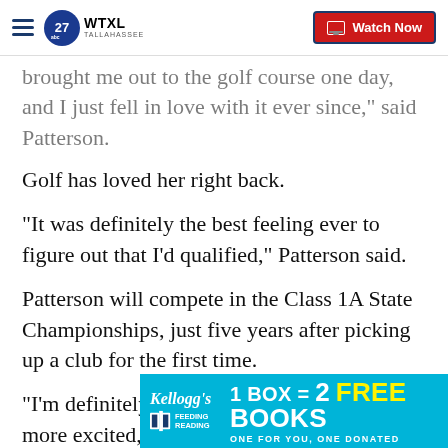WTXL TALLAHASSEE — Watch Now
brought me out to the golf course one day, and I just fell in love with it ever since," said Patterson.
Golf has loved her right back.
"It was definitely the best feeling ever to figure out that I'd qualified," Patterson said.
Patterson will compete in the Class 1A State Championships, just five years after picking up a club for the first time.
"I'm definitely nervous, but I'm definitely more excited," said Patt…
[Figure (screenshot): Kellogg's Feeding Reading advertisement banner: 1 BOX = 2 FREE BOOKS, ONE FOR YOU, ONE DONATED]